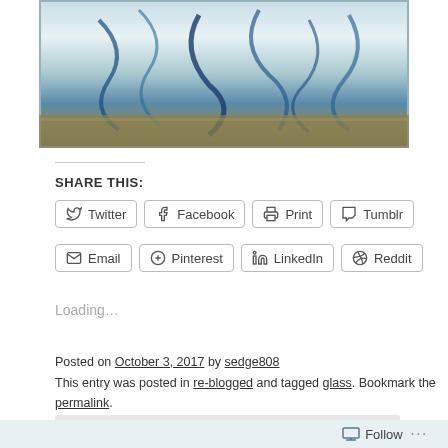[Figure (photo): Close-up photo of a glass block with swirling blue and teal patterns inside, with a brownish base]
SHARE THIS:
Twitter | Facebook | Print | Tumblr | Email | Pinterest | LinkedIn | Reddit
Loading...
Posted on October 3, 2017 by sedge808
This entry was posted in re-blogged and tagged glass. Bookmark the permalink.
Follow